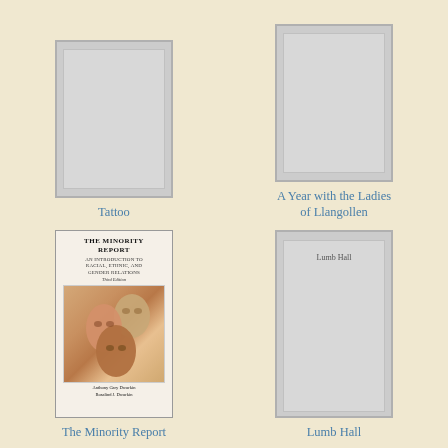[Figure (illustration): Book cover placeholder for Tattoo - grey rectangle]
Tattoo
[Figure (illustration): Book cover placeholder for A Year with the Ladies of Llangollen - grey rectangle]
A Year with the Ladies of Llangollen
[Figure (illustration): Book cover for The Minority Report: An Introduction to Racial, Ethnic, and Gender Relations, Third Edition by Anthony Gary Dworkin and Rosalind J. Dworkin - showing three women's faces]
The Minority Report
[Figure (illustration): Book cover placeholder for Lumb Hall - grey rectangle with Lumb Hall text inside]
Lumb Hall